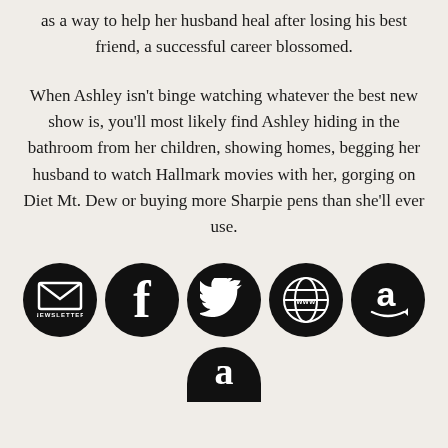as a way to help her husband heal after losing his best friend, a successful career blossomed.
When Ashley isn't binge watching whatever the best new show is, you'll most likely find Ashley hiding in the bathroom from her children, showing homes, begging her husband to watch Hallmark movies with her, gorging on Diet Mt. Dew or buying more Sharpie pens than she'll ever use.
[Figure (infographic): Five black circular social media / link icons in a row: Newsletter (envelope icon), Facebook (f), Twitter (bird), WWW/Website (globe with www text), Amazon (a with arrow). Below that, a partial sixth black circle with a Goodreads 'a' icon.]